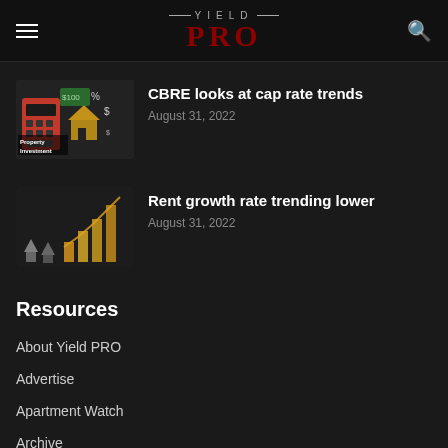YIELD PRO
[Figure (photo): Property investment themed image with calculator, house icons, percentage signs, dollar signs, and the text 'Property Investment' on a dark background]
CBRE looks at cap rate trends
August 31, 2022
[Figure (photo): Dark image showing miniature houses and a rising bar chart made of coins, suggesting rent or real estate price growth]
Rent growth rate trending lower
August 31, 2022
Resources
About Yield PRO
Advertise
Apartment Watch
Archive